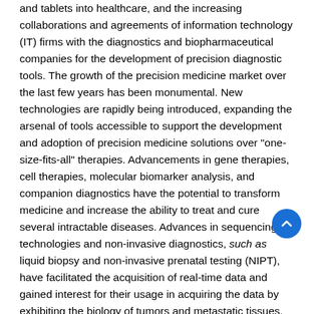and tablets into healthcare, and the increasing collaborations and agreements of information technology (IT) firms with the diagnostics and biopharmaceutical companies for the development of precision diagnostic tools. The growth of the precision medicine market over the last few years has been monumental. New technologies are rapidly being introduced, expanding the arsenal of tools accessible to support the development and adoption of precision medicine solutions over "one-size-fits-all" therapies. Advancements in gene therapies, cell therapies, molecular biomarker analysis, and companion diagnostics have the potential to transform medicine and increase the ability to treat and cure several intractable diseases. Advances in sequencing technologies and non-invasive diagnostics, such as liquid biopsy and non-invasive prenatal testing (NIPT), have facilitated the acquisition of real-time data and gained interest for their usage in acquiring the data by exhibiting the biology of tumors and metastatic tissues.
Impact
The genome of precision medicine with a focus of precision...